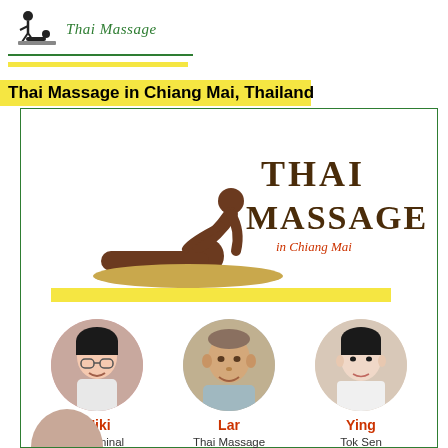[Figure (logo): Thai Massage logo with silhouette of masseuse and client, with text 'Thai Massage' in green script]
Thai Massage in Chiang Mai, Thailand
[Figure (illustration): Thai Massage in Chiang Mai graphic: brown silhouette of masseuse working on client lying on a mat, with text 'THAI MASSAGE in Chiang Mai' and a yellow decorative bar below]
[Figure (photo): Circular portrait photo of Miki, a woman with glasses smiling]
Miki
Abdominal Massage
coming soon!
[Figure (photo): Circular portrait photo of Lar, a middle-aged man smiling]
Lar
Thai Massage
[Figure (photo): Circular portrait photo of Ying, a woman with short hair]
Ying
Tok Sen